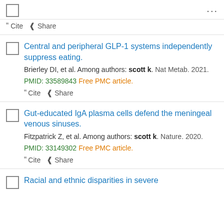... (menu icon)
" Cite  Share
Central and peripheral GLP-1 systems independently suppress eating.
Brierley DI, et al. Among authors: scott k. Nat Metab. 2021. PMID: 33589843 Free PMC article.
" Cite  Share
Gut-educated IgA plasma cells defend the meningeal venous sinuses.
Fitzpatrick Z, et al. Among authors: scott k. Nature. 2020. PMID: 33149302 Free PMC article.
" Cite  Share
Racial and ethnic disparities in severe